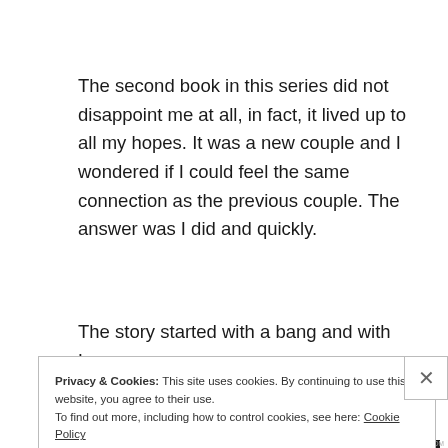The second book in this series did not disappoint me at all, in fact, it lived up to all my hopes. It was a new couple and I wondered if I could feel the same connection as the previous couple. The answer was I did and quickly.
The story started with a bang and with Leo, a
Privacy & Cookies: This site uses cookies. By continuing to use this website, you agree to their use.
To find out more, including how to control cookies, see here: Cookie Policy
Close and accept